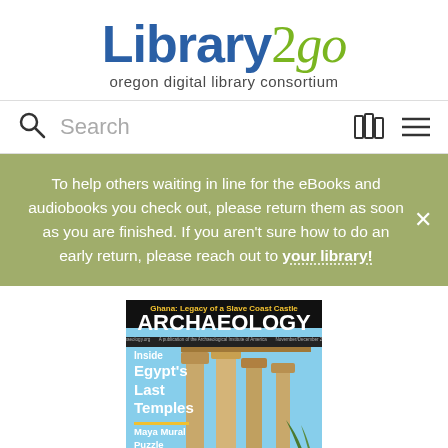[Figure (logo): Library2go logo with 'Library' in blue bold, '2' in olive/green, 'go' in italic olive/green. Below: 'oregon digital library consortium' in dark gray.]
Search
To help others waiting in line for the eBooks and audiobooks you check out, please return them as soon as you are finished. If you aren't sure how to do an early return, please reach out to your library!
[Figure (photo): Cover of Archaeology magazine. Header text: 'Ghana: Legacy of a Slave Coast Castle'. Large title: 'ARCHAEOLOGY'. Subtitle text includes 'Inside Egypt's Last Temples', 'Maya Mural Puzzle', 'Discovering'. Background photo shows Egyptian temple columns against blue sky.]